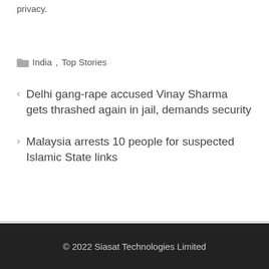privacy.
India , Top Stories
Delhi gang-rape accused Vinay Sharma gets thrashed again in jail, demands security
Malaysia arrests 10 people for suspected Islamic State links
© 2022 Siasat Technologies Limited